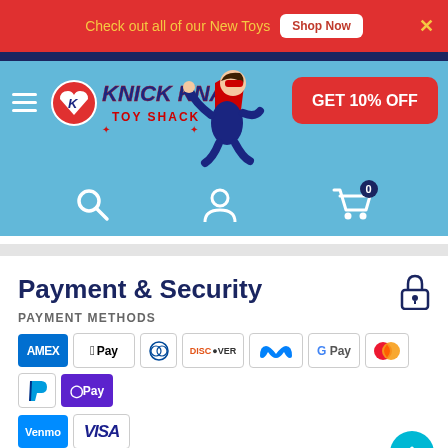Check out all of our New Toys  Shop Now  ×
[Figure (logo): Knick Knack Toy Shack logo with superhero mascot and GET 10% OFF button on light blue header background]
Payment & Security
PAYMENT METHODS
[Figure (infographic): Payment method badges: AMEX, Apple Pay, Diners Club, Discover, Meta Pay, Google Pay, Mastercard, PayPal, OPay, Venmo, Visa]
Your payment information is processed securely. We do not store credit card details nor have access to your credit card